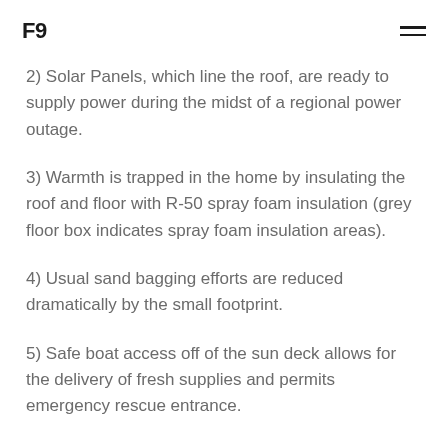F9
2) Solar Panels, which line the roof, are ready to supply power during the midst of a regional power outage.
3) Warmth is trapped in the home by insulating the roof and floor with R-50 spray foam insulation (grey floor box indicates spray foam insulation areas).
4) Usual sand bagging efforts are reduced dramatically by the small footprint.
5) Safe boat access off of the sun deck allows for the delivery of fresh supplies and permits emergency rescue entrance.